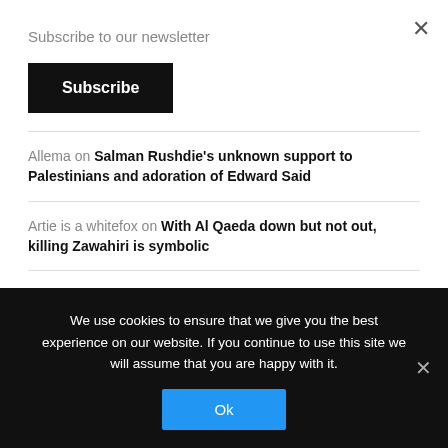Subscribe to our newsletter
Subscribe
Allema on Salman Rushdie's unknown support to Palestinians and adoration of Edward Said
Artie is a whitefox on With Al Qaeda down but not out, killing Zawahiri is symbolic
DAVID SINGER on One Small Handshake for the United States, One Giant Leap for U.S.-Saudi Relations
excalibur on Turkey's 70-year-old star Tatlıses still rocks in Israel, and here's why
We use cookies to ensure that we give you the best experience on our website. If you continue to use this site we will assume that you are happy with it.
Ok